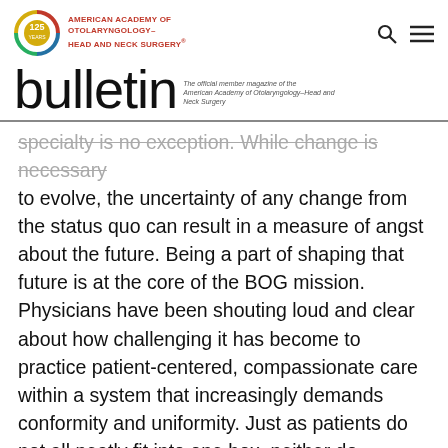AMERICAN ACADEMY OF OTOLARYNGOLOGY- HEAD AND NECK SURGERY® bulletin The official member magazine of the American Academy of Otolaryngology–Head and Neck Surgery
specialty is no exception. While change is necessary to evolve, the uncertainty of any change from the status quo can result in a measure of angst about the future. Being a part of shaping that future is at the core of the BOG mission. Physicians have been shouting loud and clear about how challenging it has become to practice patient-centered, compassionate care within a system that increasingly demands conformity and uniformity. Just as patients do not all neatly fit into one box, neither do physicians all fit into one box.
The BOG, with its three-committee structure and expanding Regional Representative network, is